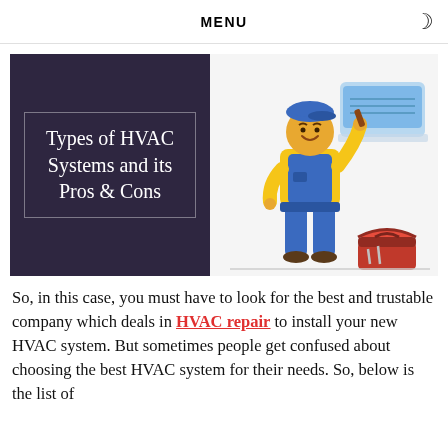MENU
[Figure (illustration): Hero image split into two halves: left half is a dark purple/navy box with a thin white border containing the text 'Types of HVAC Systems and its Pros & Cons' in white serif font; right half shows a cartoon illustration of an HVAC technician in blue overalls and yellow shirt installing a wall-mounted AC unit, with a red toolbox on the floor.]
So, in this case, you must have to look for the best and trustable company which deals in HVAC repair to install your new HVAC system. But sometimes people get confused about choosing the best HVAC system for their needs. So, below is the list of